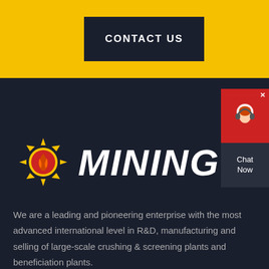CONTACT US
[Figure (logo): Sun/flame logo with spiky rays in gold and red, followed by the word MINING in bold white italic font]
[Figure (other): Chat Now widget in red and dark gray with a headset icon and X close button]
We are a leading and pioneering enterprise with the most advanced international level in R&D, manufacturing and selling of large-scale crushing & screening plants and beneficiation plants.